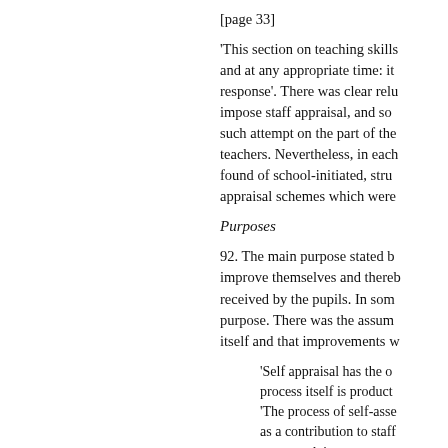[page 33]
'This section on teaching skills and at any appropriate time: it response'. There was clear relu impose staff appraisal, and so such attempt on the part of the teachers. Nevertheless, in each found of school-initiated, stru appraisal schemes which were
Purposes
92. The main purpose stated b improve themselves and thereb received by the pupils. In som purpose. There was the assum itself and that improvements w
'Self appraisal has the o process itself is product 'The process of self-asse as a contribution to staff corporately'; 'and the outcome will th